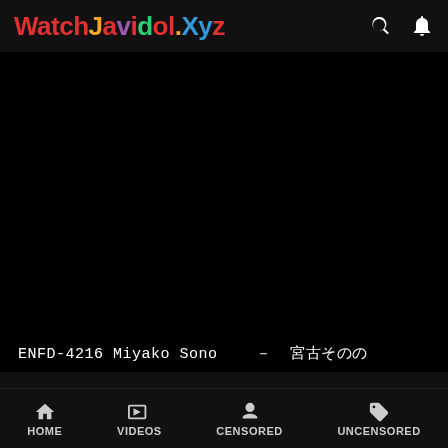WatchJavidol.Xyz
[Figure (screenshot): Black video player area with subtitle text: ENFD-4216 Miyako Sono — 宮古そのの]
ENFD-4216 Miyako Sono  —  宮古そのの
DVD
ENFD-4216, Miyako Sono, 宮古
HD
HOME   VIDEOS   CENSORED   UNCENSORED